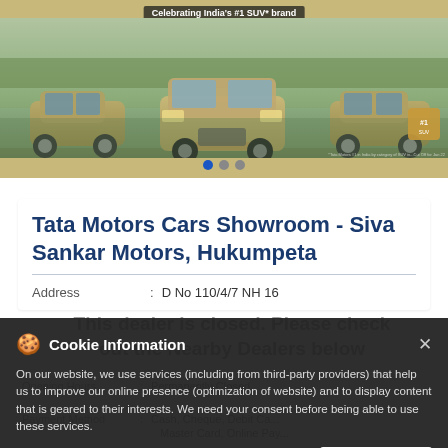[Figure (photo): Tata Motors SUV advertisement banner showing multiple SUV cars in a outdoor/nature setting with text 'Celebrating India's #1 SUV* brand' and navigation dots]
Tata Motors Cars Showroom - Siva Sankar Motors, Hukumpeta
Address : D No 110/4/7 NH 16
Opening Hours : Permanently Closed
Payment Method : Cash, Cheque, Debit Card, Master Card, Online Payment
This dealer is closed. Please check out the Nearby Dealers below
Cookie Information
On our website, we use services (including from third-party providers) that help us to improve our online presence (optimization of website) and to display content that is geared to their interests. We need your consent before being able to use these services.